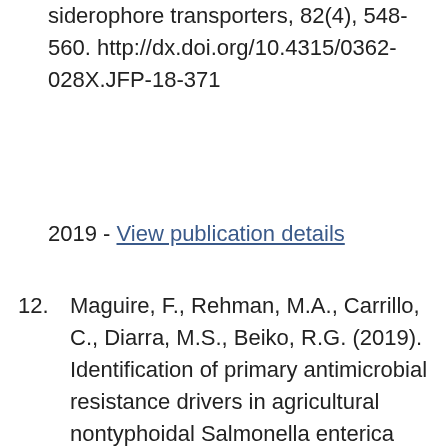siderophore transporters, 82(4), 548-560. http://dx.doi.org/10.4315/0362-028X.JFP-18-371
2019 - View publication details
12. Maguire, F., Rehman, M.A., Carrillo, C., Diarra, M.S., Beiko, R.G. (2019). Identification of primary antimicrobial resistance drivers in agricultural nontyphoidal Salmonella enterica serovars by using machine learning. mSystems, [online] 4(4), http://dx.doi.org/10.1128/mSystems.0021-19